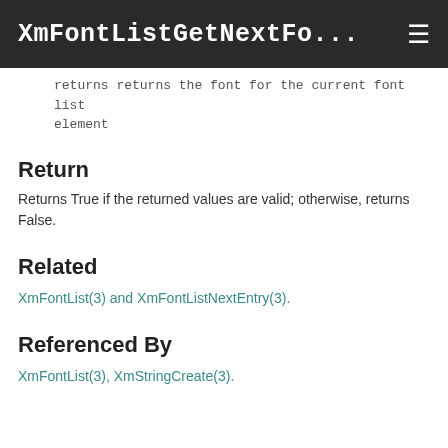XmFontListGetNextFo... ☰
returns returns the font for the current font list element
Return
Returns True if the returned values are valid; otherwise, returns False.
Related
XmFontList(3) and XmFontListNextEntry(3).
Referenced By
XmFontList(3), XmStringCreate(3).